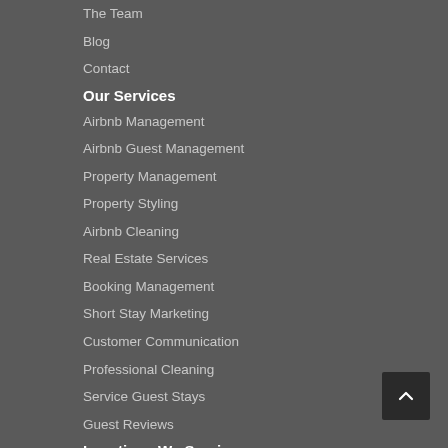The Team
Blog
Contact
Our Services
Airbnb Management
Airbnb Guest Management
Property Management
Property Styling
Airbnb Cleaning
Real Estate Services
Booking Management
Short Stay Marketing
Customer Communication
Professional Cleaning
Service Guest Stays
Guest Reviews
Locations We Service
Sydney
Melbourne